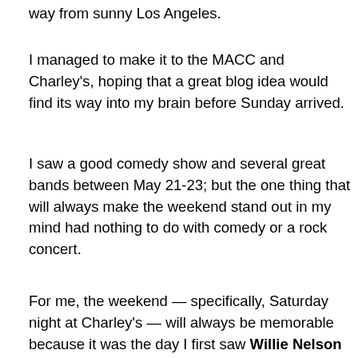way from sunny Los Angeles.
I managed to make it to the MACC and Charley's, hoping that a great blog idea would find its way into my brain before Sunday arrived.
I saw a good comedy show and several great bands between May 21-23; but the one thing that will always make the weekend stand out in my mind had nothing to do with comedy or a rock concert.
For me, the weekend — specifically, Saturday night at Charley's — will always be memorable because it was the day I first saw Willie Nelson without his long braids.
Yes, Willie cut his hair. I thought of describing it like McDonald's without the Golden Arches, Snoop Dogg not stoned or Courtney Love with a good attitude — but none